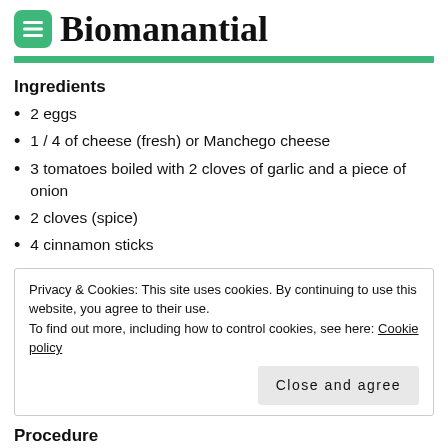Biomanantial
Ingredients
2 eggs
1 / 4 of cheese (fresh) or Manchego cheese
3 tomatoes boiled with 2 cloves of garlic and a piece of onion
2 cloves (spice)
4 cinnamon sticks
Privacy & Cookies: This site uses cookies. By continuing to use this website, you agree to their use.
To find out more, including how to control cookies, see here: Cookie policy
Procedure